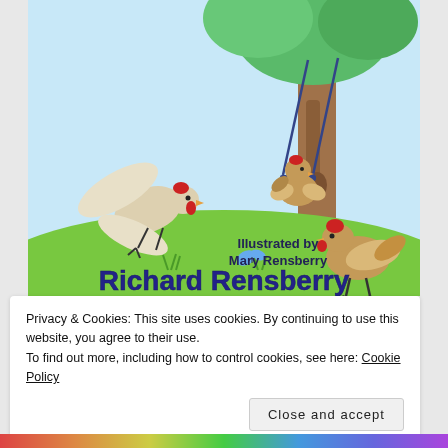[Figure (illustration): Children's book cover illustration showing chickens on a green grassy hill with a large brown tree. One chicken sits on a swing hung from the tree branch, one chicken is flying with wings spread, and one chicken stands on the ground. A blue butterfly is visible in the scene. Text on the illustration reads 'Illustrated by Mary Rensberry' in dark blue bold text, and 'Richard Rensberry' in large bold dark blue text at the bottom.]
Privacy & Cookies: This site uses cookies. By continuing to use this website, you agree to their use.
To find out more, including how to control cookies, see here: Cookie Policy
Close and accept